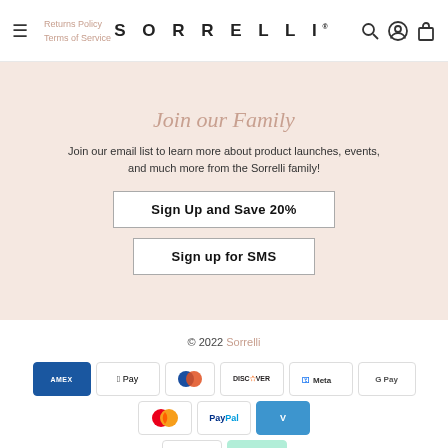SORRELLI
Returns Policy
Terms of Service
Join our Family
Join our email list to learn more about product launches, events, and much more from the Sorrelli family!
Sign Up and Save 20%
Sign up for SMS
© 2022 Sorrelli
[Figure (logo): Payment method icons: American Express, Apple Pay, Diners Club, Discover, Meta Pay, Google Pay, Mastercard, PayPal, Venmo, Visa, Afterpay]